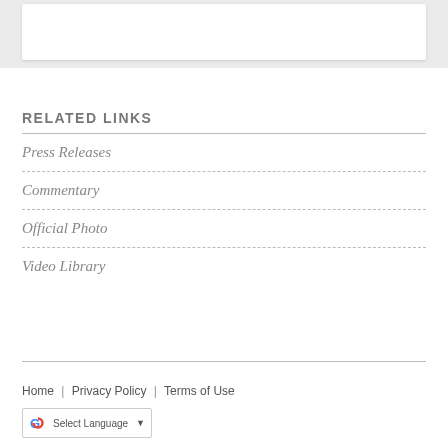RELATED LINKS
Press Releases
Commentary
Official Photo
Video Library
Home | Privacy Policy | Terms of Use